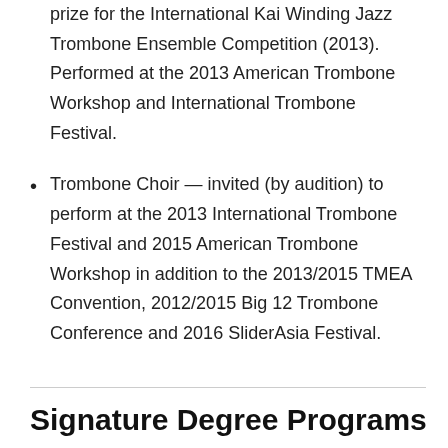prize for the International Kai Winding Jazz Trombone Ensemble Competition (2013). Performed at the 2013 American Trombone Workshop and International Trombone Festival.
Trombone Choir — invited (by audition) to perform at the 2013 International Trombone Festival and 2015 American Trombone Workshop in addition to the 2013/2015 TMEA Convention, 2012/2015 Big 12 Trombone Conference and 2016 SliderAsia Festival.
Signature Degree Programs